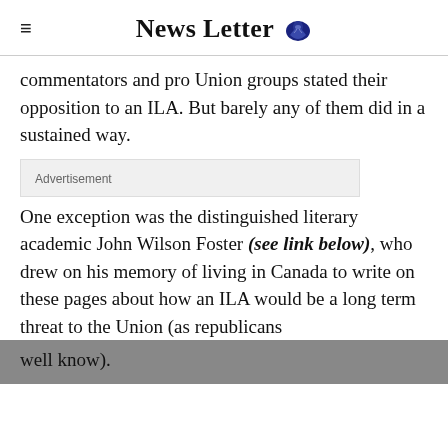News Letter
commentators and pro Union groups stated their opposition to an ILA. But barely any of them did in a sustained way.
Advertisement
One exception was the distinguished literary academic John Wilson Foster (see link below), who drew on his memory of living in Canada to write on these pages about how an ILA would be a long term threat to the Union (as republicans well know).